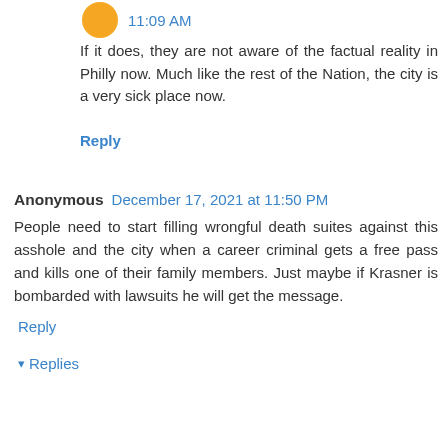11:09 AM
If it does, they are not aware of the factual reality in Philly now. Much like the rest of the Nation, the city is a very sick place now.
Reply
Anonymous December 17, 2021 at 11:50 PM
People need to start filling wrongful death suites against this asshole and the city when a career criminal gets a free pass and kills one of their family members. Just maybe if Krasner is bombarded with lawsuits he will get the message.
Reply
Replies